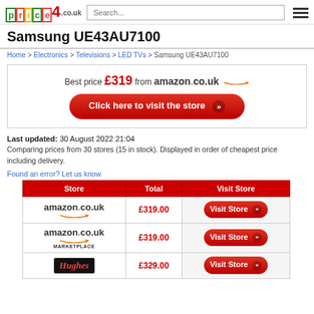price4.co.uk – Samsung UE43AU7100
Samsung UE43AU7100
Home > Electronics > Televisions > LED TVs > Samsung UE43AU7100
Best price £319 from amazon.co.uk – Click here to visit the store
Last updated: 30 August 2022 21:04
Comparing prices from 30 stores (15 in stock). Displayed in order of cheapest price including delivery.
Found an error? Let us know
| Store | Total | Visit Store |
| --- | --- | --- |
| amazon.co.uk | £319.00 | Visit Store |
| amazon.co.uk MARKETPLACE | £319.00 | Visit Store |
| Hughes | £329.00 | Visit Store |